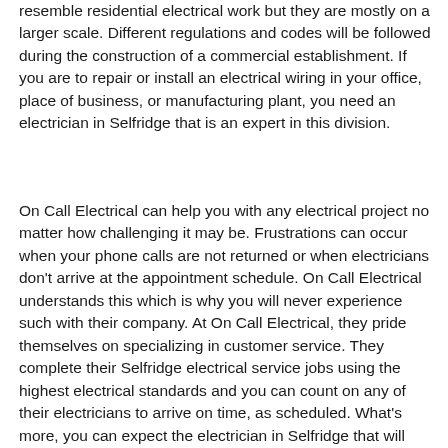resemble residential electrical work but they are mostly on a larger scale. Different regulations and codes will be followed during the construction of a commercial establishment. If you are to repair or install an electrical wiring in your office, place of business, or manufacturing plant, you need an electrician in Selfridge that is an expert in this division.
On Call Electrical can help you with any electrical project no matter how challenging it may be. Frustrations can occur when your phone calls are not returned or when electricians don't arrive at the appointment schedule. On Call Electrical understands this which is why you will never experience such with their company. At On Call Electrical, they pride themselves on specializing in customer service. They complete their Selfridge electrical service jobs using the highest electrical standards and you can count on any of their electricians to arrive on time, as scheduled. What's more, you can expect the electrician in Selfridge that will arrive in your home to be competent in dealing with whatever situation or project you